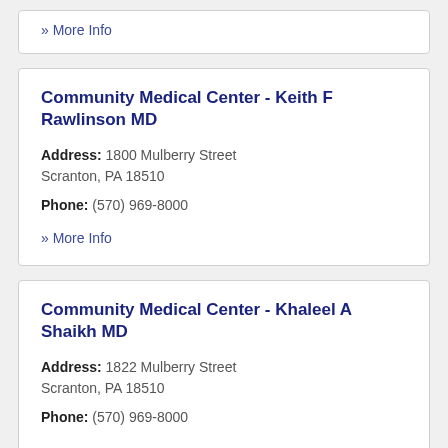» More Info
Community Medical Center - Keith F Rawlinson MD
Address: 1800 Mulberry Street Scranton, PA 18510
Phone: (570) 969-8000
» More Info
Community Medical Center - Khaleel A Shaikh MD
Address: 1822 Mulberry Street Scranton, PA 18510
Phone: (570) 969-8000